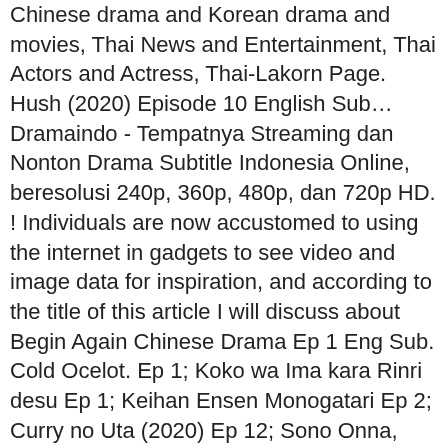Chinese drama and Korean drama and movies, Thai News and Entertainment, Thai Actors and Actress, Thai-Lakorn Page. Hush (2020) Episode 10 English Sub… Dramaindo - Tempatnya Streaming dan Nonton Drama Subtitle Indonesia Online, beresolusi 240p, 360p, 480p, dan 720p HD. ! Individuals are now accustomed to using the internet in gadgets to see video and image data for inspiration, and according to the title of this article I will discuss about Begin Again Chinese Drama Ep 1 Eng Sub. Cold Ocelot. Ep 1; Koko wa Ima kara Rinri desu Ep 1; Keihan Ensen Monogatari Ep 2; Curry no Uta (2020) Ep 12; Sono Onna, Jitterbug Ep 2; A Land So Rich in Beauty (2021) Ep 14; Beauty From Heart (2021) Ep 16; RECENT OTHERS DRAMA SUBBED. Jacquie et Michel Toulouse. The following Begin Again (2020) Episode 23 English Sub Dear Dramacool users you're watching Chinese Drama Begin Again (2020) Episode 23 with English subtitles watch hourly Updates All Asian dramas on Dramacool1 has been released now. 25:51. thaidrama, thailakorn,